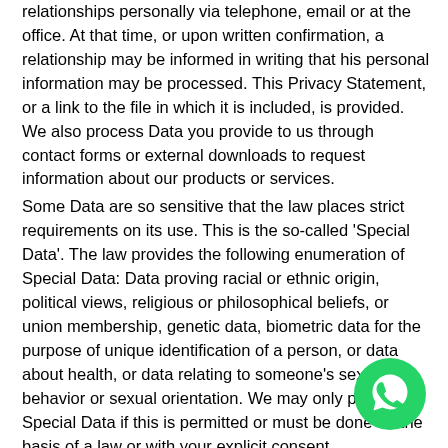relationships personally via telephone, email or at the office. At that time, or upon written confirmation, a relationship may be informed in writing that his personal information may be processed. This Privacy Statement, or a link to the file in which it is included, is provided. We also process Data you provide to us through contact forms or external downloads to request information about our products or services.
Some Data are so sensitive that the law places strict requirements on its use. This is the so-called 'Special Data'. The law provides the following enumeration of Special Data: Data proving racial or ethnic origin, political views, religious or philosophical beliefs, or union membership, genetic data, biometric data for the purpose of unique identification of a person, or data about health, or data relating to someone's sexual behavior or sexual orientation. We may only process Special Data if this is permitted or must be done on the basis of a law or with your explicit consent.
[Figure (logo): WhatsApp green circle button icon with phone/chat logo in white]